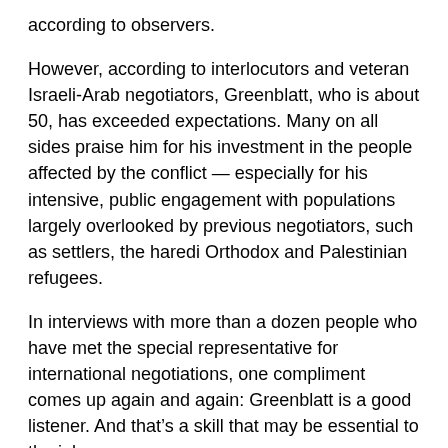according to observers.
However, according to interlocutors and veteran Israeli-Arab negotiators, Greenblatt, who is about 50, has exceeded expectations. Many on all sides praise him for his investment in the people affected by the conflict — especially for his intensive, public engagement with populations largely overlooked by previous negotiators, such as settlers, the haredi Orthodox and Palestinian refugees.
In interviews with more than a dozen people who have met the special representative for international negotiations, one compliment comes up again and again: Greenblatt is a good listener. And that's a skill that may be essential to the job.
“Greenblatt has made a universally positive impression among Israelis and Palestinians as serious, creative, empathetic and dedicated to the cause of peace,” said Daniel Shapiro, who